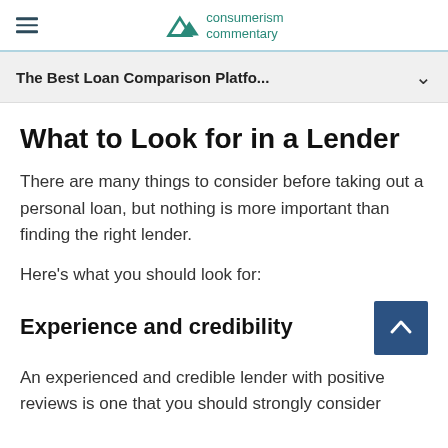consumerism commentary
The Best Loan Comparison Platfo...
What to Look for in a Lender
There are many things to consider before taking out a personal loan, but nothing is more important than finding the right lender.
Here's what you should look for:
Experience and credibility
An experienced and credible lender with positive reviews is one that you should strongly consider